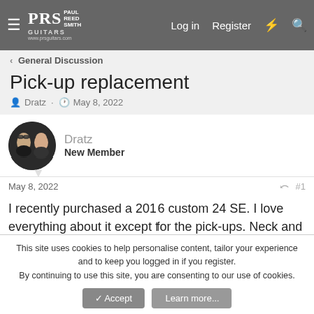PRS Guitars — Log in  Register
General Discussion
Pick-up replacement
Dratz · May 8, 2022
Dratz
New Member
May 8, 2022  #1
I recently purchased a 2016 custom 24 SE. I love everything about it except for the pick-ups. Neck and bridge are both entirely to bassey. Wondering what pick-ups would be a good replacement
This site uses cookies to help personalise content, tailor your experience and to keep you logged in if you register.
By continuing to use this site, you are consenting to our use of cookies.